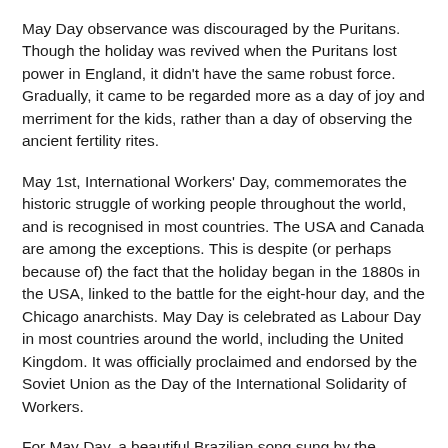May Day observance was discouraged by the Puritans. Though the holiday was revived when the Puritans lost power in England, it didn't have the same robust force. Gradually, it came to be regarded more as a day of joy and merriment for the kids, rather than a day of observing the ancient fertility rites.
May 1st, International Workers' Day, commemorates the historic struggle of working people throughout the world, and is recognised in most countries. The USA and Canada are among the exceptions. This is despite (or perhaps because of) the fact that the holiday began in the 1880s in the USA, linked to the battle for the eight-hour day, and the Chicago anarchists. May Day is celebrated as Labour Day in most countries around the world, including the United Kingdom. It was officially proclaimed and endorsed by the Soviet Union as the Day of the International Solidarity of Workers.
For May Day, a beautiful Brazilian song sung by the incomparable Elis Regina. It is called “Vento de Maio”, or “May Wind”. My (very bad) translation follows, but I don’t speak Portuguese.